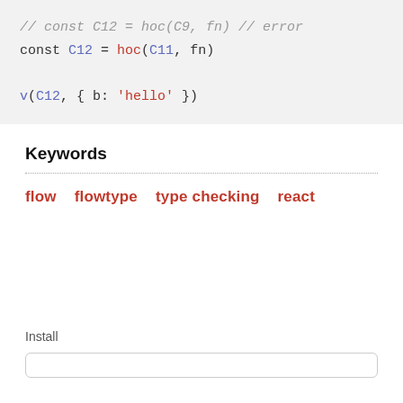// const C12 = hoc(C9, fn) // error
const C12 = hoc(C11, fn)

v(C12, { b: 'hello' })
Keywords
flow   flowtype   type checking   react
Install